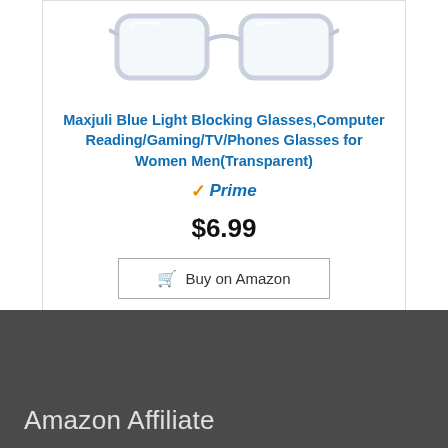[Figure (photo): Clear/transparent frame blue light blocking glasses product image]
Maxjuli Blue Light Blocking Glasses,Computer Reading/Gaming/TV/Phones Glasses for Women Men(Transparent)
Prime
$6.99
Buy on Amazon
Amazon Affiliate